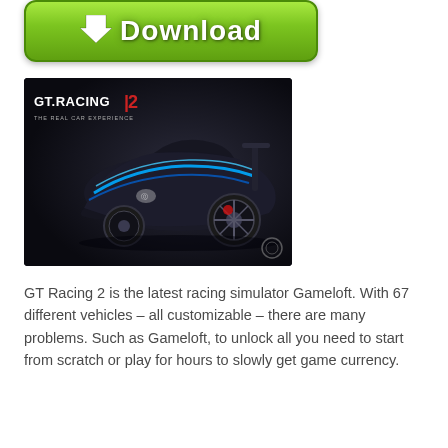[Figure (screenshot): Green download button with white arrow icon and bold white 'Download' text]
[Figure (screenshot): GT Racing 2 game promotional image showing a dark futuristic racing car with blue lighting, with GT Racing 2 logo in top left corner]
GT Racing 2 is the latest racing simulator Gameloft. With 67 different vehicles – all customizable – there are many problems. Such as Gameloft, to unlock all you need to start from scratch or play for hours to slowly get game currency.